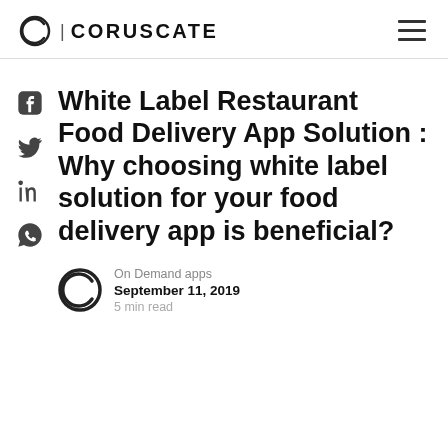CORUSCATE
White Label Restaurant Food Delivery App Solution : Why choosing white label solution for your food delivery app is beneficial?
On Demand apps
September 11, 2019
5 min read